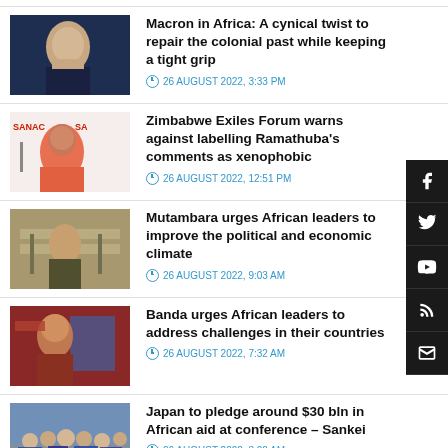[Figure (photo): Thumbnail of Macron speaking]
Macron in Africa: A cynical twist to repair the colonial past while keeping a tight grip
26 AUGUST 2022, 3:33 PM
[Figure (photo): SANAC event thumbnail with woman in pink]
Zimbabwe Exiles Forum warns against labelling Ramathuba's comments as xenophobic
26 AUGUST 2022, 12:51 PM
[Figure (photo): Mutambara at podium thumbnail]
Mutambara urges African leaders to improve the political and economic climate
26 AUGUST 2022, 9:03 AM
[Figure (photo): Banda thumbnail]
Banda urges African leaders to address challenges in their countries
26 AUGUST 2022, 7:32 AM
[Figure (photo): Group photo at Japan-Africa conference]
Japan to pledge around $30 bln in African aid at conference – Sankei
26 AUGUST 2022, 3:00 AM